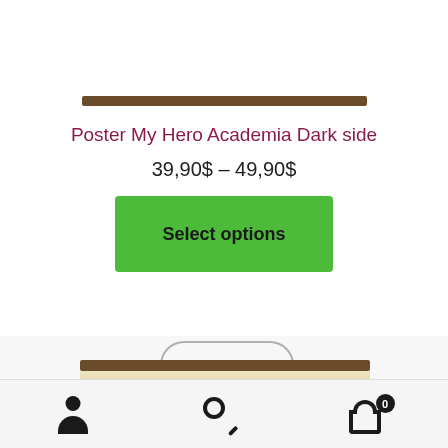[Figure (photo): Product photo of My Hero Academia Dark side scroll poster, partially visible at top with watermark asia-emarket.com]
Poster My Hero Academia Dark side
39,90$ – 49,90$
Select options
[Figure (photo): Bottom portion of another product photo showing a scroll poster with rope hanger and brown wooden bar]
Navigation bar with user account icon, search icon, and shopping cart icon with badge showing 0